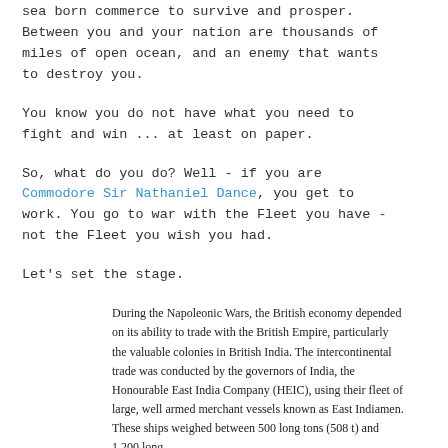sea born commerce to survive and prosper. Between you and your nation are thousands of miles of open ocean, and an enemy that wants to destroy you.
You know you do not have what you need to fight and win ... at least on paper.
So, what do you do? Well - if you are Commodore Sir Nathaniel Dance, you get to work. You go to war with the Fleet you have - not the Fleet you wish you had.
Let's set the stage.
During the Napoleonic Wars, the British economy depended on its ability to trade with the British Empire, particularly the valuable colonies in British India. The intercontinental trade was conducted by the governors of India, the Honourable East India Company (HEIC), using their fleet of large, well armed merchant vessels known as East Indiamen. These ships weighed between 500 long tons (508 t) and 1,200 long